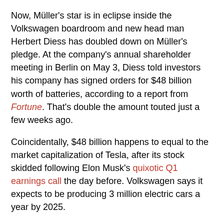Now, Müller's star is in eclipse inside the Volkswagen boardroom and new head man Herbert Diess has doubled down on Müller's pledge. At the company's annual shareholder meeting in Berlin on May 3, Diess told investors his company has signed orders for $48 billion worth of batteries, according to a report from Fortune. That's double the amount touted just a few weeks ago.
Coincidentally, $48 billion happens to equal to the market capitalization of Tesla, after its stock skidded following Elon Musk's quixotic Q1 earnings call the day before. Volkswagen says it expects to be producing 3 million electric cars a year by 2025.
“By 2020 we will offer our customers more than 25 new electric models and more than 20 plug-in hybrids,” Diess told those in attendance at the annual meeting. “In just a few years’ time, then, across all brands and regions, we aim to put the world’s largest fleet of electric vehicles on the road.”
Audi is slated to begin production of its three-motor electric SUV, the e-tron quattro, in August. (Audi’s marketing department prefers not to capitalize the names of its electric products.) Next year, the Porsche Mission E electric 4-door